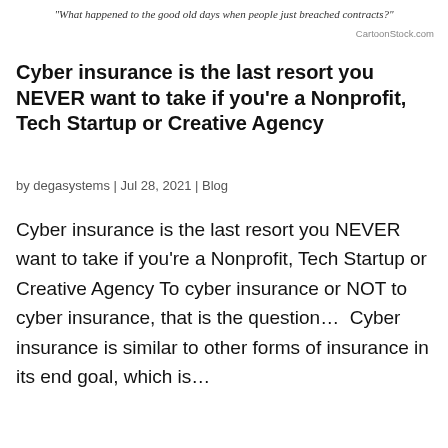“What happened to the good old days when people just breached contracts?”
CartoonStock.com
Cyber insurance is the last resort you NEVER want to take if you’re a Nonprofit, Tech Startup or Creative Agency
by degasystems | Jul 28, 2021 | Blog
Cyber insurance is the last resort you NEVER want to take if you’re a Nonprofit, Tech Startup or Creative Agency To cyber insurance or NOT to cyber insurance, that is the question…  Cyber insurance is similar to other forms of insurance in its end goal, which is…